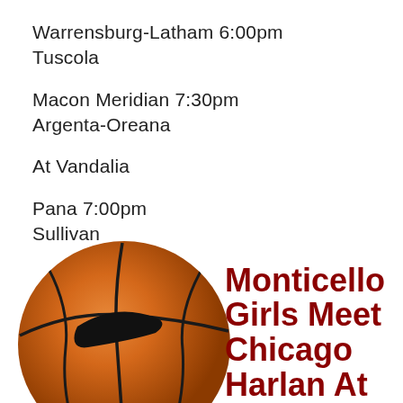Warrensburg-Latham 6:00pm
Tuscola
Macon Meridian  7:30pm
Argenta-Oreana
At Vandalia
Pana  7:00pm
Sullivan
[Figure (photo): Nike Elite basketball, orange with black swoosh and ELITE text]
Monticello Girls Meet Chicago Harlan At